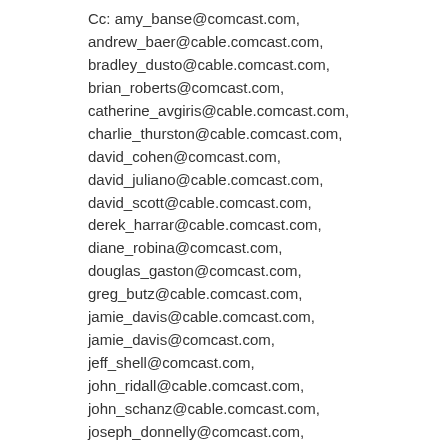Cc: amy_banse@comcast.com, andrew_baer@cable.comcast.com, bradley_dusto@cable.comcast.com, brian_roberts@comcast.com, catherine_avgiris@cable.comcast.com, charlie_thurston@cable.comcast.com, david_cohen@comcast.com, david_juliano@cable.comcast.com, david_scott@cable.comcast.com, derek_harrar@cable.comcast.com, diane_robina@comcast.com, douglas_gaston@comcast.com, greg_butz@cable.comcast.com, jamie_davis@cable.comcast.com, jamie_davis@comcast.com, jeff_shell@comcast.com, john_ridall@cable.comcast.com, john_schanz@cable.comcast.com, joseph_donnelly@comcast.com, kevin_casey@cable.comcast.com,